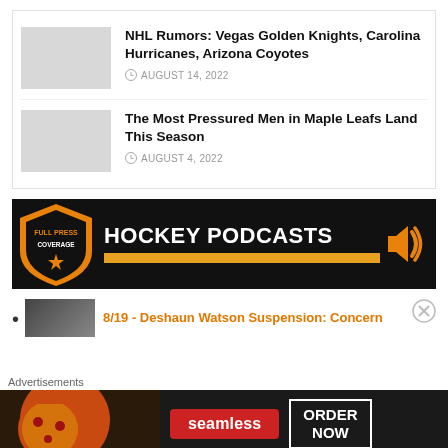NHL Rumors: Vegas Golden Knights, Carolina Hurricanes, Arizona Coyotes
AUGUST 14, 2022
The Most Pressured Men in Maple Leafs Land This Season
AUGUST 4, 2022
[Figure (logo): Full Press Coverage Hockey Podcasts banner with logo and speaker icon, orange bar]
8/19 - Deshaun Watson Suspension: Concern
Advertisements
[Figure (screenshot): Seamless food delivery advertisement with pizza image, Seamless logo, and ORDER NOW button]